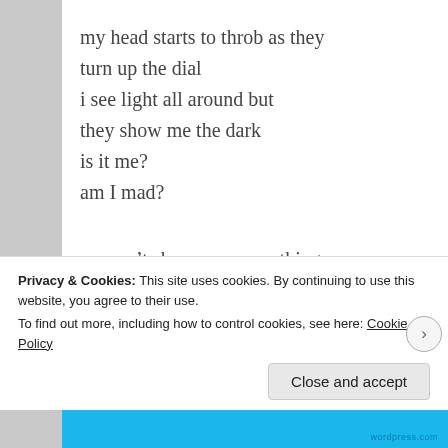my head starts to throb as they
turn up the dial
i see light all around but
they show me the dark
is it me?
am I mad?

we can't show you everything
not yet
we have a plan for you

My head may be aching
But my heart is worse
Privacy & Cookies: This site uses cookies. By continuing to use this website, you agree to their use.
To find out more, including how to control cookies, see here: Cookie Policy
Close and accept